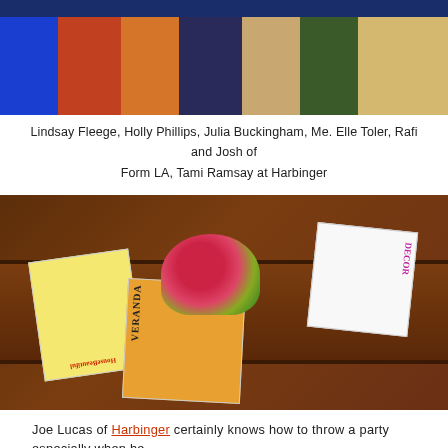[Figure (photo): Group photo of Lindsay Fleege, Holly Phillips, Julia Buckingham, Me. Elle Toler, Rafi and Josh of Form LA, Tami Ramsay at Harbinger event]
Lindsay Fleege, Holly Phillips, Julia Buckingham, Me. Elle Toler, Rafi and Josh of Form LA, Tami Ramsay at Harbinger
[Figure (photo): Table with interior design magazines including House Beautiful, DECOR, and Veranda, with a floral arrangement]
Joe Lucas of Harbinger certainly knows how to throw a party especially when he